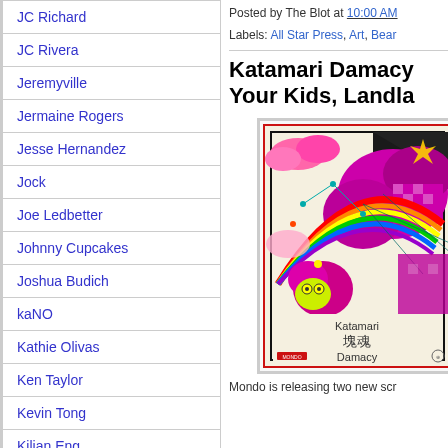JC Richard
JC Rivera
Jeremyville
Jermaine Rogers
Jesse Hernandez
Jock
Joe Ledbetter
Johnny Cupcakes
Joshua Budich
kaNO
Kathie Olivas
Ken Taylor
Kevin Tong
Kilian Eng
Killer Bootlegs
Koralie
Posted by The Blot at 10:00 AM
Labels: All Star Press, Art, Bear
Katamari Damacy Your Kids, Landla
[Figure (illustration): Katamari Damacy poster art featuring colorful swirling rainbow, purple/magenta abstract shapes and characters, with text 'Katamari 塊魂 Damacy' at the bottom on a cream background, bordered in red]
Mondo is releasing two new scr